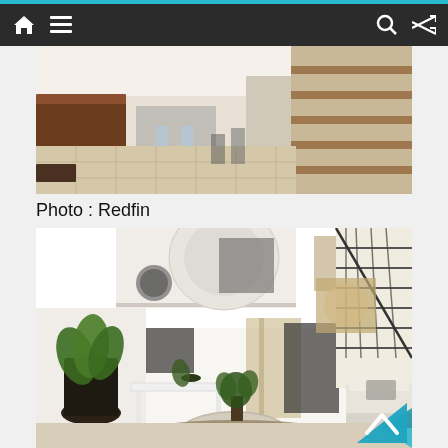Navigation bar with home, menu, search, and shuffle icons
[Figure (photo): Interior photo of a home entryway/foyer with light wood-toned tile floors, dark wood furniture/counter on the left, glass/chrome bar stools, and wooden staircase on the right]
Photo : Redfin
[Figure (photo): Interior photo of a modern home living room with high ceilings, white walls, a large pendant light, wall art, indoor plants, white console table, a round metallic coffee table, white wingback chairs, and a wood staircase with metal railings on the right]